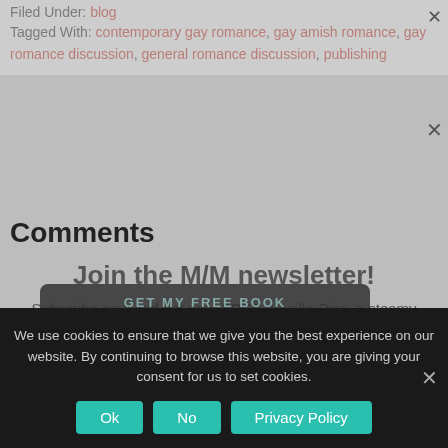Filed Under: blog
Tagged With: contemporary gay romance, gay amish romance, gay romance discussion, general romance discussion, publishing
Comments
Join the M/M newsletter!
Subscribe now and get your FREE novella Rise, a steamy retelling of Jack and the Beanstalk:
Kryssie Fortune says
April 27, 2015 at 3:48 pm
We use cookies to ensure that we give you the best experience on our website. By continuing to browse this website, you are giving your consent for us to set cookies.
Ok
No
Privacy Policy